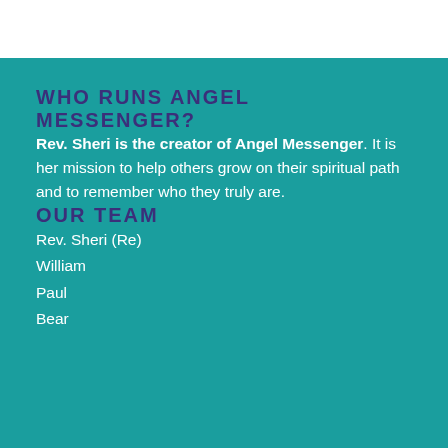WHO RUNS ANGEL MESSENGER?
Rev. Sheri is the creator of Angel Messenger. It is her mission to help others grow on their spiritual path and to remember who they truly are.
OUR TEAM
Rev. Sheri (Re)
William
Paul
Bear